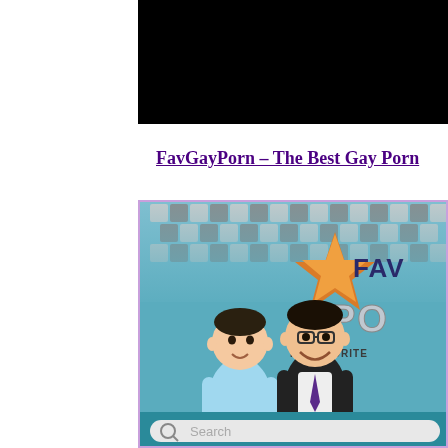[Figure (screenshot): Black banner/header area at top of webpage]
FavGayPorn – The Best Gay Porn
[Figure (screenshot): Website screenshot showing two cartoon male characters standing side by side against a checkered disco ball background, with a star logo and text reading FAV PO MY FAVORITE, and a search bar at bottom]